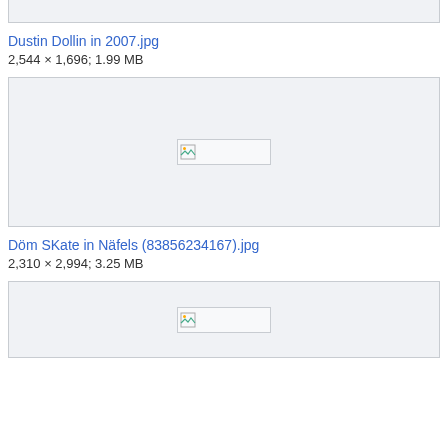[Figure (other): Partially visible image box at top of page (cropped)]
Dustin Dollin in 2007.jpg
2,544 × 1,696; 1.99 MB
[Figure (other): Broken image placeholder in a light gray box]
Döm SKate in Näfels (83856234167).jpg
2,310 × 2,994; 3.25 MB
[Figure (other): Partially visible image box at bottom of page (cropped)]